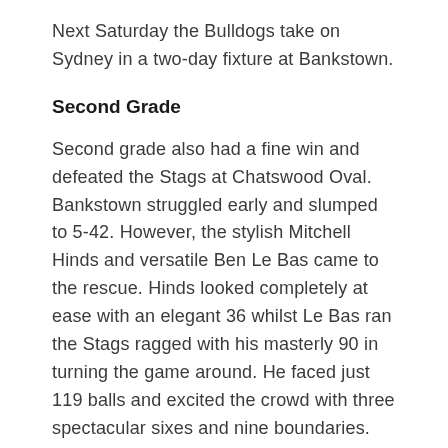Next Saturday the Bulldogs take on Sydney in a two-day fixture at Bankstown.
Second Grade
Second grade also had a fine win and defeated the Stags at Chatswood Oval. Bankstown struggled early and slumped to 5-42. However, the stylish Mitchell Hinds and versatile Ben Le Bas came to the rescue. Hinds looked completely at ease with an elegant 36 whilst Le Bas ran the Stags ragged with his masterly 90 in turning the game around. He faced just 119 balls and excited the crowd with three spectacular sixes and nine boundaries. This enabled Bankstown to battle to 196. The Stags were very